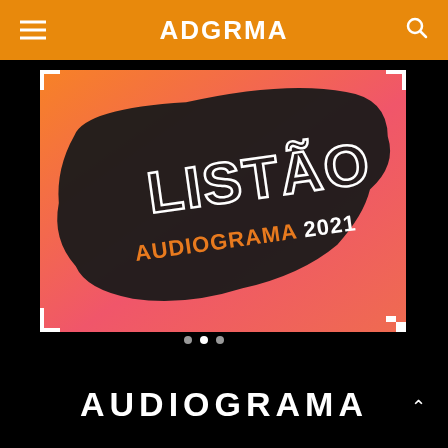ADGRMA
[Figure (illustration): Promotional image for Listão Audiograma 2021 — a gradient orange-to-pink background with a large black brushstroke containing the text LISTÃO AUDIOGRAMA 2021 in stylized white/orange lettering. Film corner marks visible on the card edges and three white dots at the bottom indicating a carousel.]
AUDIOGRAMA